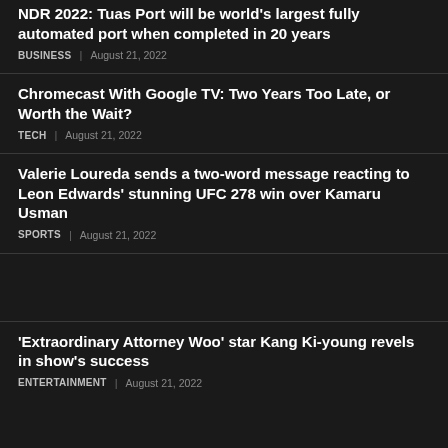NDR 2022: Tuas Port will be world's largest fully automated port when completed in 20 years
BUSINESS | August 21, 2022
Chromecast With Google TV: Two Years Too Late, or Worth the Wait?
TECH | August 21, 2022
Valerie Loureda sends a two-word message reacting to Leon Edwards' stunning UFC 278 win over Kamaru Usman
SPORTS | August 21, 2022
‘Extraordinary Attorney Woo’ star Kang Ki-young revels in show’s success
ENTERTAINMENT | August 21, 2022